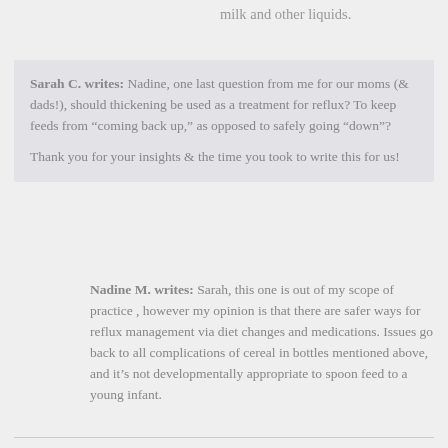milk and other liquids.
Sarah C. writes: Nadine, one last question from me for our moms (& dads!), should thickening be used as a treatment for reflux? To keep feeds from “coming back up,” as opposed to safely going “down”?

Thank you for your insights & the time you took to write this for us!
Nadine M. writes: Sarah, this one is out of my scope of practice , however my opinion is that there are safer ways for reflux management via diet changes and medications. Issues go back to all complications of cereal in bottles mentioned above, and it’s not developmentally appropriate to spoon feed to a young infant.